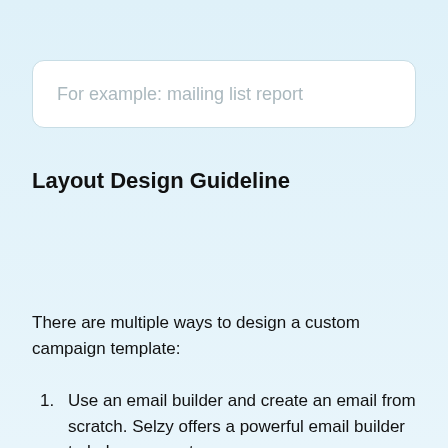[Figure (other): Text input field with placeholder text 'For example: mailing list report']
Layout Design Guideline
There are multiple ways to design a custom campaign template:
1. Use an email builder and create an email from scratch. Selzy offers a powerful email builder to help you create